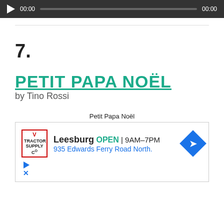[Figure (other): Audio player bar with play button, 00:00 time labels, and progress bar on dark background]
7.
PETIT PAPA NOËL
by Tino Rossi
Petit Papa Noël
[Figure (other): Advertisement for Tractor Supply Co. - Leesburg store, OPEN 9AM-7PM, 935 Edwards Ferry Road North, with navigation diamond icon]